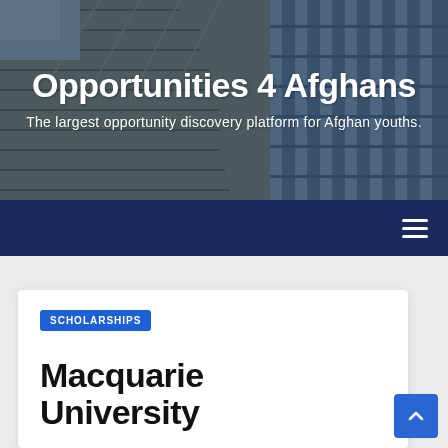[Figure (photo): Aerial/close-up photo of a modern building facade with geometric window patterns and blue tones, serving as hero background]
Opportunities 4 Afghans
The largest opportunity discovery platform for Afghan youths.
Navigation bar with hamburger menu icon
SCHOLARSHIPS
Macquarie University